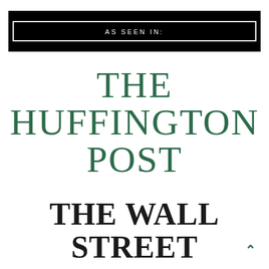AS SEEN IN:
[Figure (logo): The Huffington Post logo in dark green serif font]
[Figure (logo): The Wall Street Journal logo in bold black serif font, partially visible]